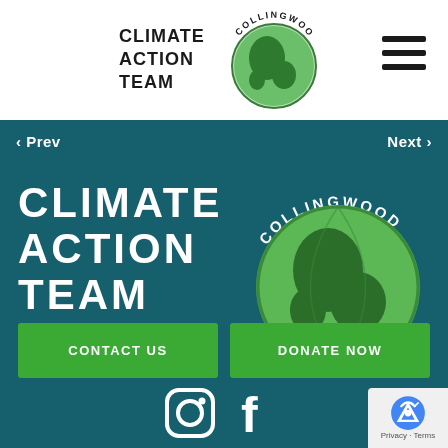CLIMATE ACTION TEAM (Collingwood logo)
[Figure (logo): Collingwood Climate Action Team logo - globe with text CLIMATE ACTION TEAM and COLLINGWOOD circling the globe]
[Figure (other): Hamburger menu icon - three horizontal lines]
< Prev    Next >
[Figure (logo): Large Collingwood Climate Action Team logo on teal background - CLIMATE ACTION TEAM text with globe graphic and COLLINGWOOD arced text]
CONTACT US
DONATE NOW
[Figure (other): Instagram and Facebook social media icons]
[Figure (other): reCAPTCHA badge - Privacy Terms]